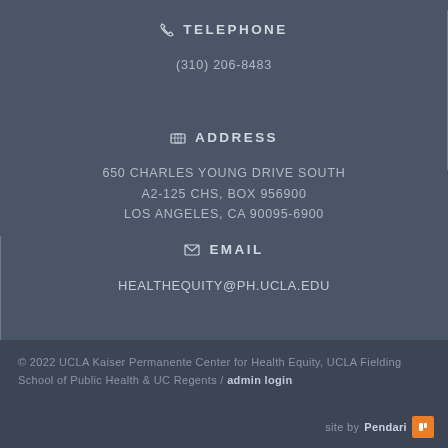TELEPHONE
(310) 206-8483
ADDRESS
650 CHARLES YOUNG DRIVE SOUTH
A2-125 CHS, BOX 956900
LOS ANGELES, CA 90095-6900
EMAIL
HEALTHEQUITY@PH.UCLA.EDU
© 2022 UCLA Kaiser Permanente Center for Health Equity, UCLA Fielding School of Public Health & UC Regents / admin login
site by Pendari